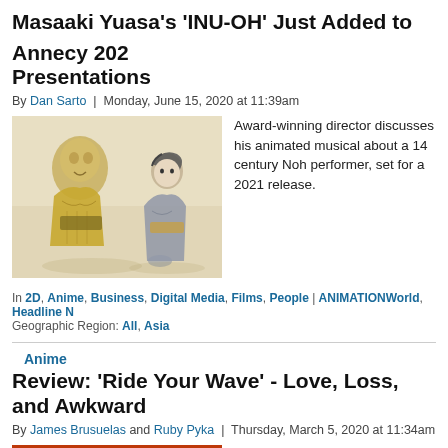Masaaki Yuasa's 'INU-OH' Just Added to Annecy 2020 Presentations
By Dan Sarto | Monday, June 15, 2020 at 11:39am
[Figure (illustration): Sketch-style illustration of two anime characters in traditional Japanese clothing on a warm beige background]
Award-winning director discusses his animated musical about a 14 century Noh performer, set for a 2021 release.
In 2D, Anime, Business, Digital Media, Films, People | ANIMATIONWorld, Headline N
Geographic Region: All, Asia
Anime
Review: 'Ride Your Wave' - Love, Loss, and Awkwar...
By James Brusuelas and Ruby Pyka | Thursday, March 5, 2020 at 11:34am
[Figure (photo): Orange sunset scene with silhouettes of pillars and two figures by the water]
Masaaki Yuasa's latest film is an exploration of grief, and self-discovery.